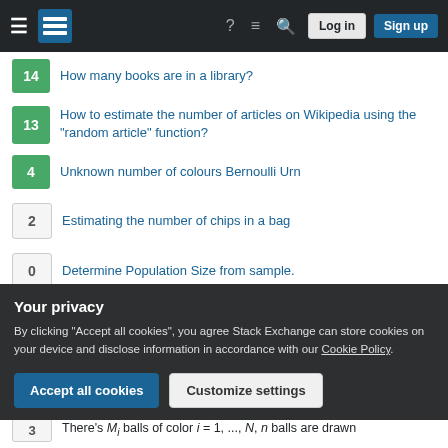Stack Exchange navigation bar with hamburger menu, logo, help, chat, search, Log in, Sign up
14 — How many books are in a library?
13 — How to estimate the number of articles on Wikipedia using the "random article" function?
4 — Unknown number of colours Bernoulli Urn
2 — Estimating the number of chips in a bag
0 — Determine Population Size from sample.
Related
1 — Removing all balls of one or more colors from an urn containing multicolored balls
Your privacy
By clicking "Accept all cookies", you agree Stack Exchange can store cookies on your device and disclose information in accordance with our Cookie Policy.
3 — There's M_i balls of color i = 1, ..., N, n balls are drawn